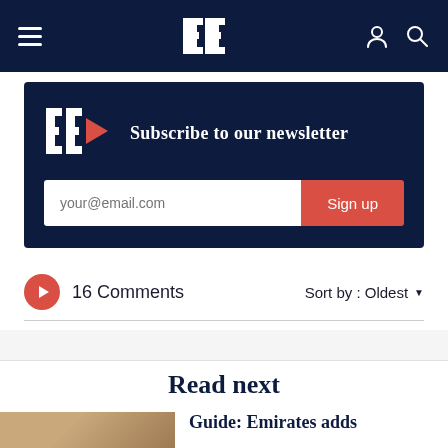Navigation bar with hamburger menu, EE logo, user icon and search icon
Subscribe to our newsletter
your@email.com  Sign up
16 Comments  Sort by : Oldest
Read next
Guide: Emirates adds